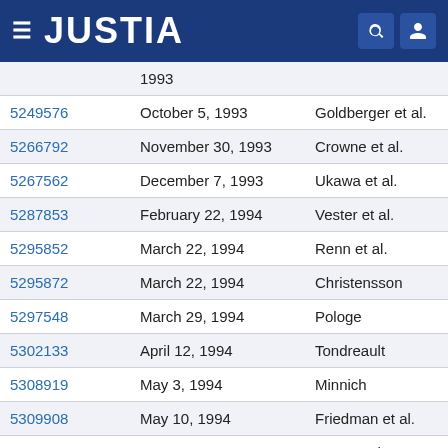JUSTIA
| Patent Number | Date | Inventor |
| --- | --- | --- |
|  | 1993 |  |
| 5249576 | October 5, 1993 | Goldberger et al. |
| 5266792 | November 30, 1993 | Crowne et al. |
| 5267562 | December 7, 1993 | Ukawa et al. |
| 5287853 | February 22, 1994 | Vester et al. |
| 5295852 | March 22, 1994 | Renn et al. |
| 5295872 | March 22, 1994 | Christensson |
| 5297548 | March 29, 1994 | Pologe |
| 5302133 | April 12, 1994 | Tondreault |
| 5308919 | May 3, 1994 | Minnich |
| 5309908 | May 10, 1994 | Friedman et al. |
| 5313940 | May 24, 1994 | Fuse et al. |